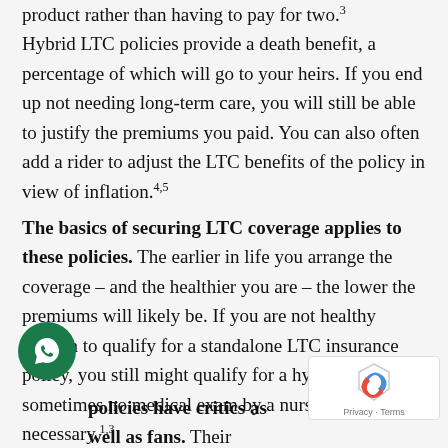product rather than having to pay for two.3 Hybrid LTC policies provide a death benefit, a percentage of which will go to your heirs. If you end up not needing long-term care, you will still be able to justify the premiums you paid. You can also often add a rider to adjust the LTC benefits of the policy in view of inflation.4,5
The basics of securing LTC coverage applies to these policies. The earlier in life you arrange the coverage – and the healthier you are – the lower the premiums will likely be. If you are not healthy enough to qualify for a standalone LTC insurance policy, you still might qualify for a hybrid policy – sometimes no medical exam by a nurse is necessary.1,3
These policies have critics as well as fans. Their detractors point out the characteristic that puts on